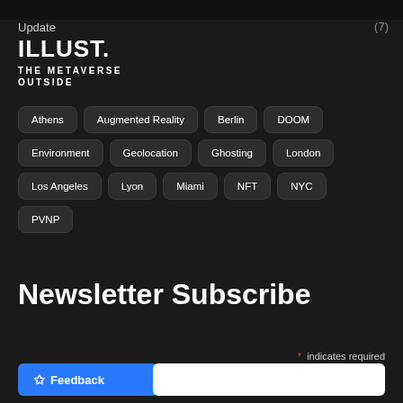Update  (7)
ILLUST.
THE METAVERSE OUTSIDE
Athens
Augmented Reality
Berlin
DOOM
Environment
Geolocation
Ghosting
London
Los Angeles
Lyon
Miami
NFT
NYC
PVNP
Newsletter Subscribe
* indicates required